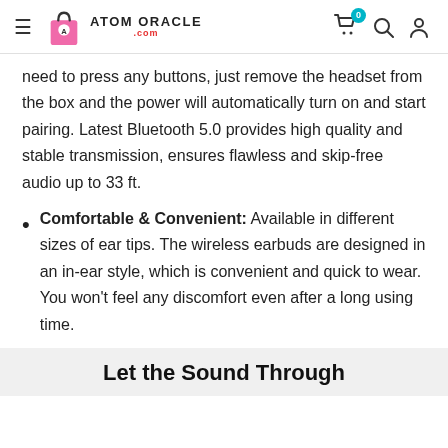Atom Oracle .com
need to press any buttons, just remove the headset from the box and the power will automatically turn on and start pairing. Latest Bluetooth 5.0 provides high quality and stable transmission, ensures flawless and skip-free audio up to 33 ft.
Comfortable & Convenient: Available in different sizes of ear tips. The wireless earbuds are designed in an in-ear style, which is convenient and quick to wear. You won't feel any discomfort even after a long using time.
Let the Sound Through